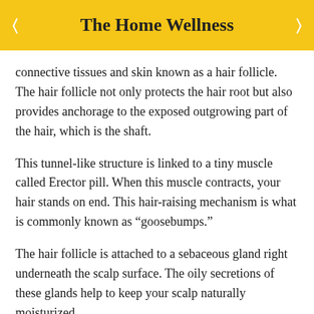The Home Wellness
connective tissues and skin known as a hair follicle. The hair follicle not only protects the hair root but also provides anchorage to the exposed outgrowing part of the hair, which is the shaft.
This tunnel-like structure is linked to a tiny muscle called Erector pill. When this muscle contracts, your hair stands on end. This hair-raising mechanism is what is commonly known as “goosebumps.”
The hair follicle is attached to a sebaceous gland right underneath the scalp surface. The oily secretions of these glands help to keep your scalp naturally moisturized.
The hair follicle also has several nerve endings that